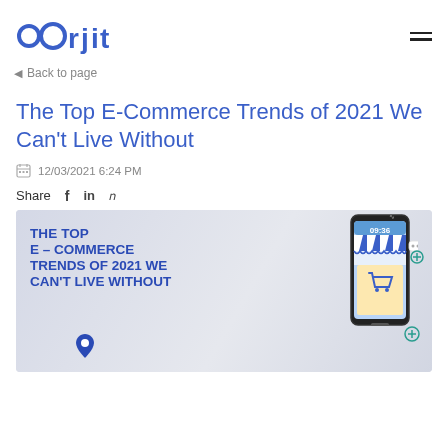oOrjit
Back to page
The Top E-Commerce Trends of 2021 We Can't Live Without
12/03/2021 6:24 PM
Share
[Figure (illustration): Promotional banner image showing 'THE TOP E-COMMERCE TRENDS OF 2021 WE CAN'T LIVE WITHOUT' text on left with a smartphone displaying a shopping app with a store awning and shopping cart icon on the right, on a light gray background.]